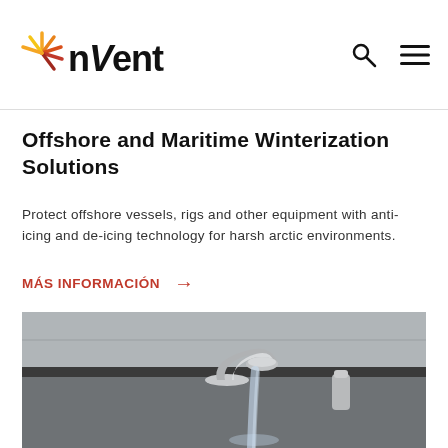nVent
Offshore and Maritime Winterization Solutions
Protect offshore vessels, rigs and other equipment with anti-icing and de-icing technology for harsh arctic environments.
MÁS INFORMACIÓN →
[Figure (photo): Close-up photograph of a chrome kitchen faucet running water into a sink, with a grey tile backsplash in the background.]